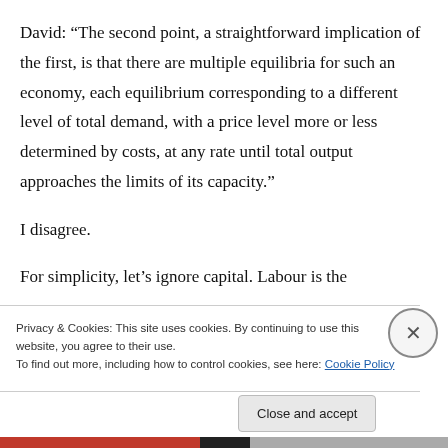David: “The second point, a straightforward implication of the first, is that there are multiple equilibria for such an economy, each equilibrium corresponding to a different level of total demand, with a price level more or less determined by costs, at any rate until total output approaches the limits of its capacity.”
I disagree.
For simplicity, let’s ignore capital. Labour is the
Privacy & Cookies: This site uses cookies. By continuing to use this website, you agree to their use.
To find out more, including how to control cookies, see here: Cookie Policy